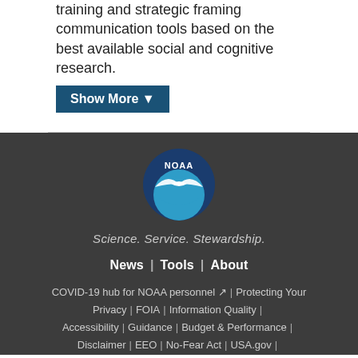training and strategic framing communication tools based on the best available social and cognitive research.
Show More ▼
[Figure (logo): NOAA circular logo with blue background, white bird/wave design, and 'NOAA' text]
Science. Service. Stewardship.
News | Tools | About
COVID-19 hub for NOAA personnel | Protecting Your Privacy | FOIA | Information Quality | Accessibility | Guidance | Budget & Performance | Disclaimer | EEO | No-Fear Act | USA.gov |